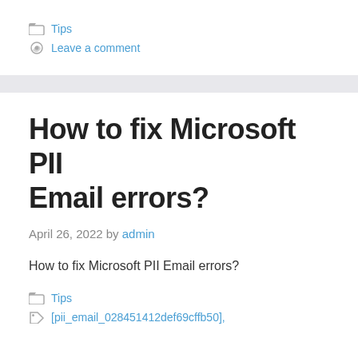Tips
Leave a comment
How to fix Microsoft PII Email errors?
April 26, 2022 by admin
How to fix Microsoft PII Email errors?
Tips
[pii_email_028451412def69cffb50],